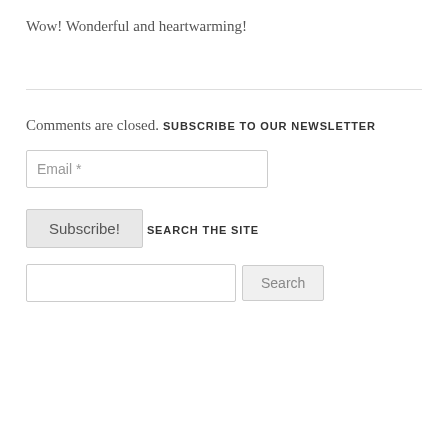Wow! Wonderful and heartwarming!
Comments are closed.
SUBSCRIBE TO OUR NEWSLETTER
Email *
Subscribe!
SEARCH THE SITE
Search